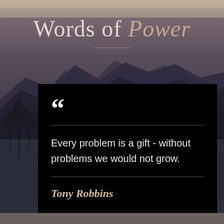[Figure (illustration): Background image of a mountain landscape with a lake reflection, dark moody tones with purplish-gray sky and silhouetted mountains and trees]
Words of Power
Every problem is a gift - without problems we would not grow.
Tony Robbins